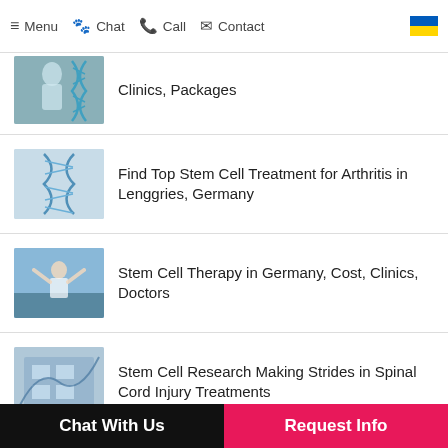≡ Menu  🐾 Chat  📞 Call  ✉ Contact
Clinics, Packages
Find Top Stem Cell Treatment for Arthritis in Lenggries, Germany
Stem Cell Therapy in Germany, Cost, Clinics, Doctors
Stem Cell Research Making Strides in Spinal Cord Injury Treatments
Umbilical Cord Stem Cell Therapy for
Chat With Us   Request Info